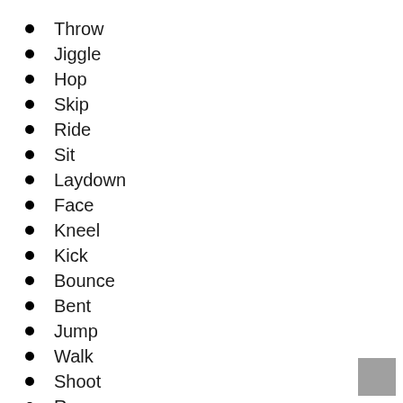Throw
Jiggle
Hop
Skip
Ride
Sit
Laydown
Face
Kneel
Kick
Bounce
Bent
Jump
Walk
Shoot
Run